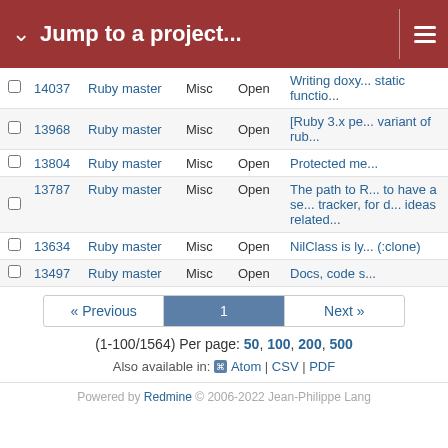Jump to a project...
|  | # | Project | Tracker | Status | Subject |
| --- | --- | --- | --- | --- | --- |
|  | 14037 | Ruby master | Misc | Open | Writing doxy... static functio... |
|  | 13968 | Ruby master | Misc | Open | [Ruby 3.x pe... variant of rub... |
|  | 13804 | Ruby master | Misc | Open | Protected me... |
|  | 13787 | Ruby master | Misc | Open | The path to R... to have a se... tracker, for d... ideas related... |
|  | 13634 | Ruby master | Misc | Open | NilClass is ly... (:clone) |
|  | 13497 | Ruby master | Misc | Open | Docs, code s... |
« Previous  1  Next »
(1-100/1564) Per page: 50, 100, 200, 500
Also available in: Atom | CSV | PDF
Powered by Redmine © 2006-2022 Jean-Philippe Lang